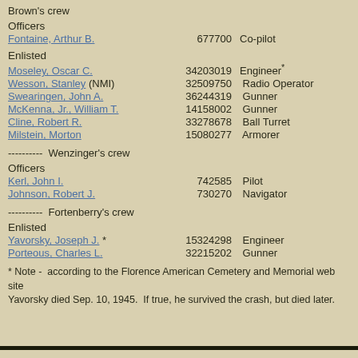Brown's crew
Officers
Fontaine, Arthur B.   677700   Co-pilot
Enlisted
Moseley, Oscar C.   34203019   Engineer*
Wesson, Stanley (NMI)   32509750   Radio Operator
Swearingen, John A.   36244319   Gunner
McKenna, Jr., William T.   14158002   Gunner
Cline, Robert R.   33278678   Ball Turret
Milstein, Morton   15080277   Armorer
---------- Wenzinger's crew
Officers
Kerl, John I.   742585   Pilot
Johnson, Robert J.   730270   Navigator
---------- Fortenberry's crew
Enlisted
Yavorsky, Joseph J. *   15324298   Engineer
Porteous, Charles L.   32215202   Gunner
* Note - according to the Florence American Cemetery and Memorial web site Yavorsky died Sep. 10, 1945. If true, he survived the crash, but died later.